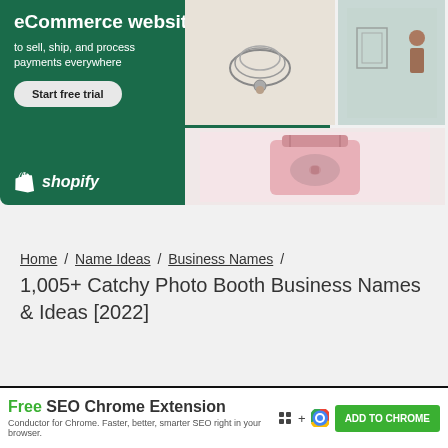[Figure (screenshot): Shopify advertisement banner with green background showing 'eCommerce website to sell, ship, and process payments everywhere' with Start free trial button, Shopify logo, and product images collage of necklace and pink bag]
Home / Name Ideas / Business Names / 1,005+ Catchy Photo Booth Business Names & Ideas [2022]
[Figure (screenshot): Free SEO Chrome Extension banner for Conductor for Chrome with Add to Chrome green button]